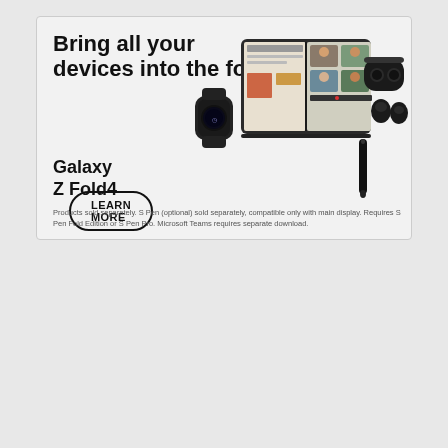Bring all your devices into the fold
LEARN MORE
Galaxy
Z Fold4
Products sold separately. S Pen (optional) sold separately, compatible only with main display. Requires S Pen Fold Edition or S Pen Pro. Microsoft Teams requires separate download.
[Figure (photo): Samsung Galaxy Z Fold4 product image showing foldable phone open displaying a video call, a smartwatch, wireless earbuds, and S Pen stylus]
AD
[Figure (screenshot): Video advertisement showing a young man standing in front of a building with blue tiled windows, with text 'Unfold your world' and a play button overlay]